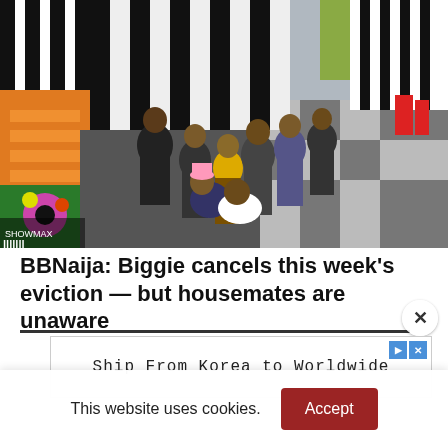[Figure (photo): Overhead/aerial view of Big Brother Naija housemates standing in a line inside the colorful BBNaija house, with black-and-white striped walls, colorful murals and orange staircase visible.]
BBNaija: Biggie cancels this week's eviction — but housemates are unaware
[Figure (screenshot): Advertisement banner reading 'Ship From Korea to Worldwide' with AdChoices icon and close button.]
This website uses cookies.